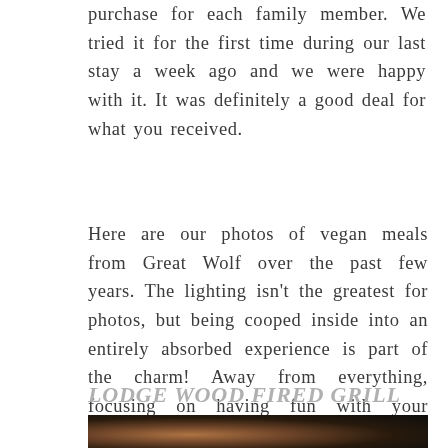purchase for each family member. We tried it for the first time during our last stay a week ago and we were happy with it. It was definitely a good deal for what you received.
Here are our photos of vegan meals from Great Wolf over the past few years. The lighting isn't the greatest for photos, but being cooped inside into an entirely absorbed experience is part of the charm! Away from everything, focusing on having fun with your family... forgetting the outside world even exists! 😉
LODGE WOOD FIRED GRILL
[Figure (photo): Partially visible dark photo strip at bottom of page, appears to be food/restaurant imagery with blurred lights in background]